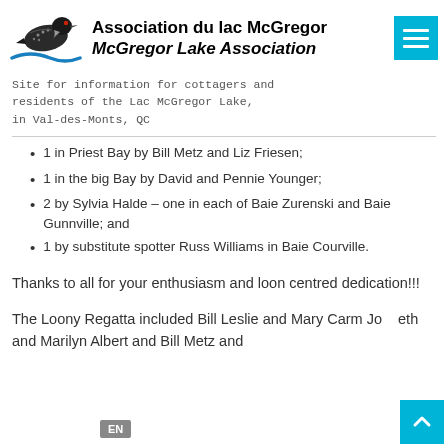[Figure (logo): McGregor Lake Association loon bird logo with blue wave]
Association du lac McGregor McGregor Lake Association
Site for information for cottagers and residents of the Lac McGregor Lake, in Val-des-Monts, QC
1 in Priest Bay by Bill Metz and Liz Friesen;
1 in the big Bay by David and Pennie Younger;
2 by Sylvia Halde – one in each of Baie Zurenski and Baie Gunnville; and
1 by substitute spotter Russ Williams in Baie Courville.
Thanks to all for your enthusiasm and loon centred dedication!!!
The Loony Regatta included Bill Leslie and Mary Carm Jo eth and Marilyn Albert and Bill Metz and